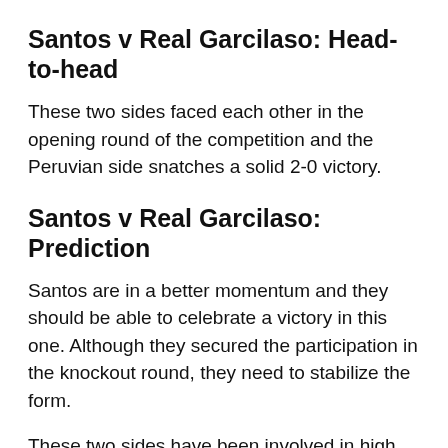Santos v Real Garcilaso: Head-to-head
These two sides faced each other in the opening round of the competition and the Peruvian side snatches a solid 2-0 victory.
Santos v Real Garcilaso: Prediction
Santos are in a better momentum and they should be able to celebrate a victory in this one. Although they secured the participation in the knockout round, they need to stabilize the form.
These two sides have been involved in high scoring matches lately and they should be able to produce an efficient game this time. The crowd should expect to see at least three goals in this clash.